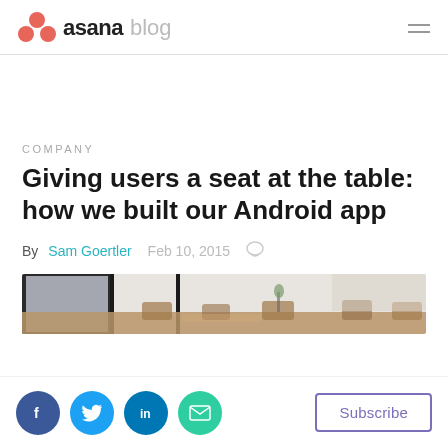asana blog
COMPANY
Giving users a seat at the table: how we built our Android app
By Sam Goertler   Feb 10, 2015
[Figure (photo): Office interior photo showing a conference table, chairs, and windows with natural light]
Facebook, Twitter, LinkedIn, Email share buttons | Subscribe button